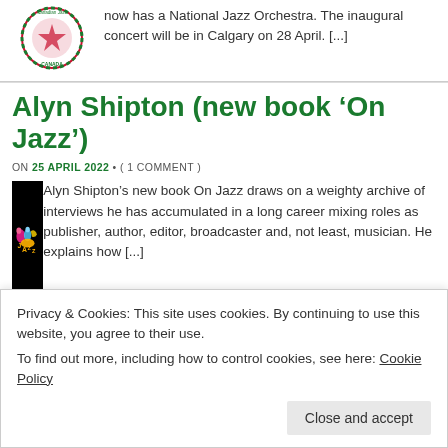now has a National Jazz Orchestra. The inaugural concert will be in Calgary on 28 April. [...]
Alyn Shipton (new book ‘On Jazz’)
ON 25 APRIL 2022 • ( 1 COMMENT )
[Figure (illustration): Jazz book cover with colorful abstract figures on black background, text 'JAZZ']
Alyn Shipton’s new book On Jazz draws on a weighty archive of interviews he has accumulated in a long career mixing roles as publisher, author, editor, broadcaster and, not least, musician. He explains how [...]
Privacy & Cookies: This site uses cookies. By continuing to use this website, you agree to their use.
To find out more, including how to control cookies, see here: Cookie Policy
Close and accept
review by Patrick Hadfield) Ronnie Scott’s was